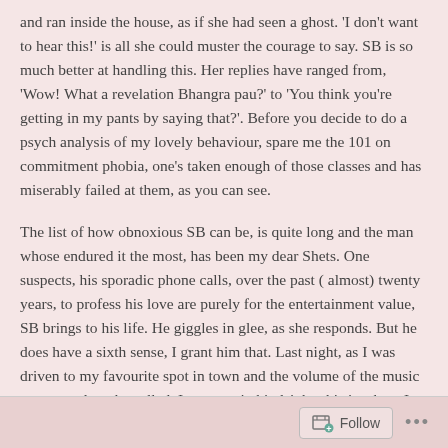and ran inside the house, as if she had seen a ghost. 'I don't want to hear this!' is all she could muster the courage to say. SB is so much better at handling this. Her replies have ranged from, 'Wow! What a revelation Bhangra pau?' to 'You think you're getting in my pants by saying that?'. Before you decide to do a psych analysis of my lovely behaviour, spare me the 101 on commitment phobia, one's taken enough of those classes and has miserably failed at them, as you can see.
The list of how obnoxious SB can be, is quite long and the man whose endured it the most, has been my dear Shets. One suspects, his sporadic phone calls, over the past ( almost) twenty years, to profess his love are purely for the entertainment value, SB brings to his life. He giggles in glee, as she responds. But he does have a sixth sense, I grant him that. Last night, as I was driven to my favourite spot in town and the volume of the music was turned up, he called. I suspect, in hindsight, this is where I was originally, supposed to be told. Thank the lord, the plan got spoilt. Someday, I have always hoped, some weirdo will paint the words, ' you're
Follow ...